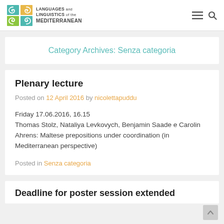Languages and Linguistics of the Mediterranean
Category Archives: Senza categoria
Plenary lecture
Posted on 12 April 2016 by nicolettapuddu
Friday 17.06.2016, 16.15
Thomas Stolz, Nataliya Levkovych, Benjamin Saade e Carolin Ahrens: Maltese prepositions under coordination (in Mediterranean perspective)
Posted in Senza categoria
Deadline for poster session extended